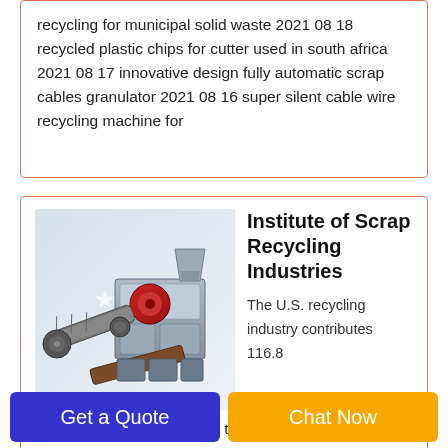recycling for municipal solid waste 2021 08 18 recycled plastic chips for cutter used in south africa 2021 08 17 innovative design fully automatic scrap cables granulator 2021 08 16 super silent cable wire recycling machine for
[Figure (photo): Industrial cable wire recycling machine with conveyor belts, red rollers, and metal chassis]
Institute of Scrap Recycling Industries
The U.S. recycling industry contributes 116.8 billion in economic output to the national economy. The U.S. recycling industry supports more than 506 000 well
Get a Quote
Chat Now